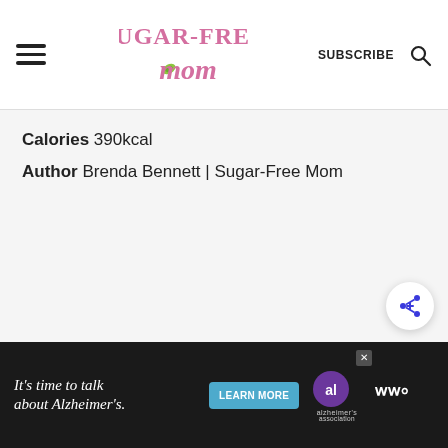Sugar-Free Mom — SUBSCRIBE
Calories 390kcal
Author Brenda Bennett | Sugar-Free Mom
[Figure (screenshot): Advertisement banner: 'It's time to talk about Alzheimer's.' with a Learn More button and Alzheimer's Association logo on a dark background]